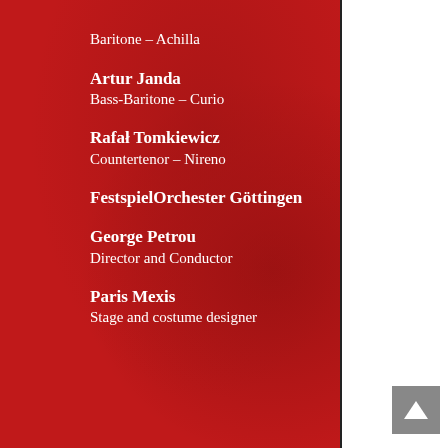Baritone – Achilla
Artur Janda
Bass-Baritone – Curio
Rafał Tomkiewicz
Countertenor – Nireno
FestspielOrchester Göttingen
George Petrou
Director and Conductor
Paris Mexis
Stage and costume designer